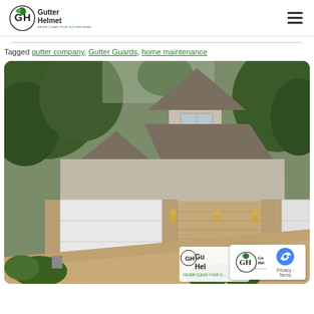Gutter Helmet – Never Clean Your Gutters Again
Tagged gutter company, Gutter Guards, home maintenance
[Figure (photo): Exterior photo of a suburban two-story home with beige/tan siding, brick accents, and a two-car garage with white garage doors. Trees visible in background. A small Gutter Helmet logo watermark appears in the bottom right of the photo.]